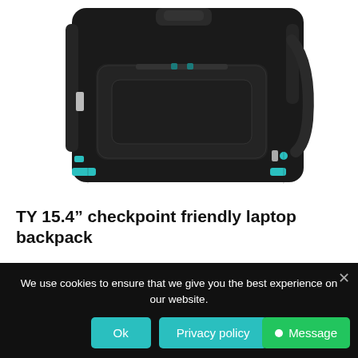[Figure (photo): Black laptop backpack with teal/blue zipper accents, front pockets visible, photographed on white background]
TY 15.4” checkpoint friendly laptop backpack
Add to basket
We use cookies to ensure that we give you the best experience on our website.
Ok
Privacy policy
Message